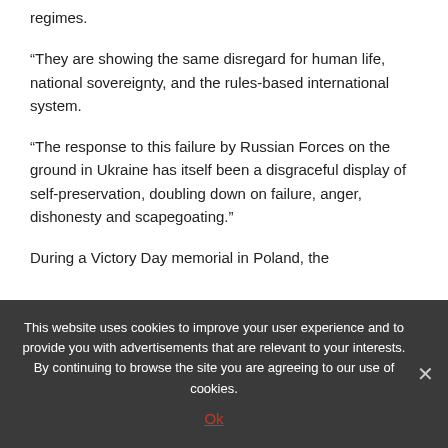regimes.
“They are showing the same disregard for human life, national sovereignty, and the rules-based international system.
“The response to this failure by Russian Forces on the ground in Ukraine has itself been a disgraceful display of self-preservation, doubling down on failure, anger, dishonesty and scapegoating.”
During a Victory Day memorial in Poland, the
This website uses cookies to improve your user experience and to provide you with advertisements that are relevant to your interests. By continuing to browse the site you are agreeing to our use of cookies.
Ok